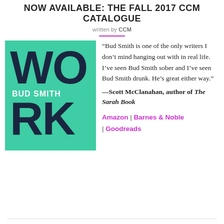NOW AVAILABLE: THE FALL 2017 CCM CATALOGUE
written by CCM
[Figure (photo): Book cover for 'Work' by Bud Smith — teal/green background with large dark blue bold text reading WO (top) and RK (bottom), and 'BUD SMITH' in white text in the middle.]
“Bud Smith is one of the only writers I don’t mind hanging out with in real life. I’ve seen Bud Smith sober and I’ve seen Bud Smith drunk. He’s great either way.” —Scott McClanahan, author of The Sarah Book
Amazon | Barnes & Noble | Goodreads